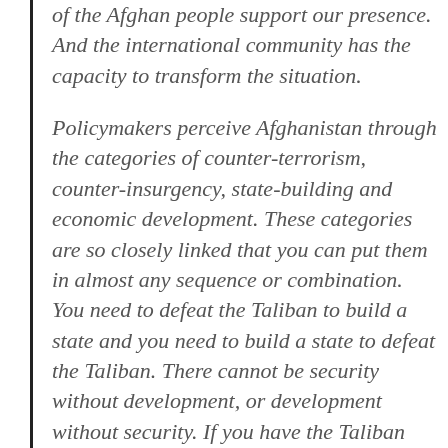of the Afghan people support our presence. And the international community has the capacity to transform the situation.
Policymakers perceive Afghanistan through the categories of counter-terrorism, counter-insurgency, state-building and economic development. These categories are so closely linked that you can put them in almost any sequence or combination. You need to defeat the Taliban to build a state and you need to build a state to defeat the Taliban. There cannot be security without development, or development without security. If you have the Taliban you have terrorists, if you don't have development you